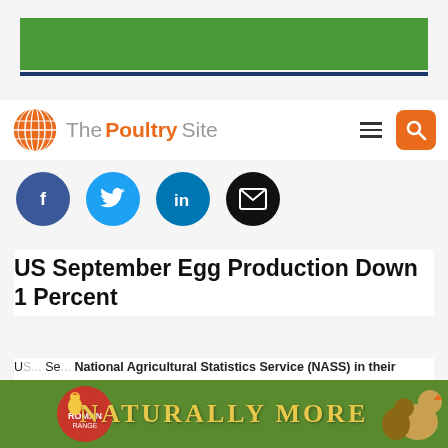[Figure (other): Green advertisement banner at the top of the page]
[Figure (logo): The Poultry Site logo with orange globe icon and navigation icons including hamburger menu and orange search button]
[Figure (other): Social media sharing buttons: Facebook (blue), Twitter (light blue), LinkedIn (blue), Email (black), all circular]
US September Egg Production Down 1 Percent
US ... Se... National Agricultural Statistics Service (NASS) in their monthly Chickens and Eggs report.
[Figure (other): Green advertisement banner at the bottom with text NATURALLY MORE and chicken images on left and right]